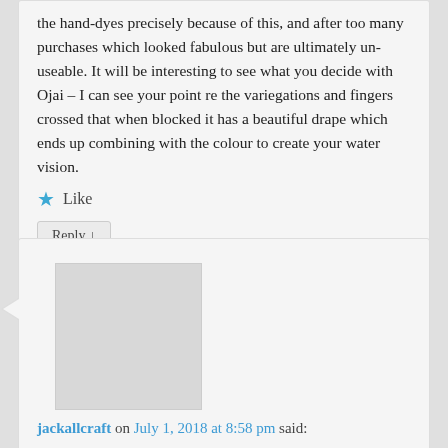the hand-dyes precisely because of this, and after too many purchases which looked fabulous but are ultimately un-useable. It will be interesting to see what you decide with Ojai – I can see your point re the variegations and fingers crossed that when blocked it has a beautiful drape which ends up combining with the colour to create your water vision.
★ Like
Reply ↓
jackallcraft on July 1, 2018 at 8:58 pm said:
My thought when I saw it was that it looked like water. 🙂